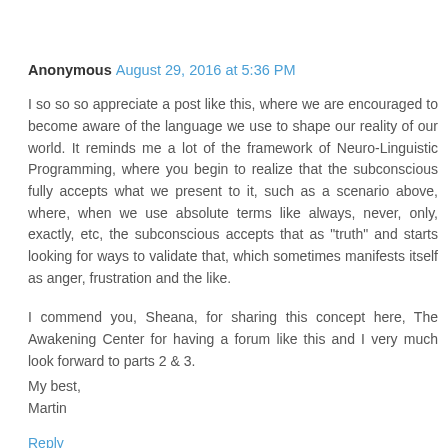Anonymous August 29, 2016 at 5:36 PM
I so so so appreciate a post like this, where we are encouraged to become aware of the language we use to shape our reality of our world. It reminds me a lot of the framework of Neuro-Linguistic Programming, where you begin to realize that the subconscious fully accepts what we present to it, such as a scenario above, where, when we use absolute terms like always, never, only, exactly, etc, the subconscious accepts that as "truth" and starts looking for ways to validate that, which sometimes manifests itself as anger, frustration and the like.
I commend you, Sheana, for sharing this concept here, The Awakening Center for having a forum like this and I very much look forward to parts 2 & 3.
My best,
Martin
Reply